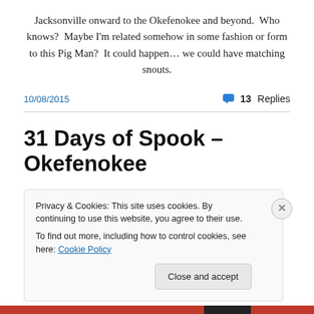Jacksonville onward to the Okefenokee and beyond.  Who knows?  Maybe I'm related somehow in some fashion or form to this Pig Man?  It could happen… we could have matching snouts.
10/08/2015   💬 13 Replies
31 Days of Spook – Okefenokee
Privacy & Cookies: This site uses cookies. By continuing to use this website, you agree to their use.
To find out more, including how to control cookies, see here: Cookie Policy
[Close and accept]